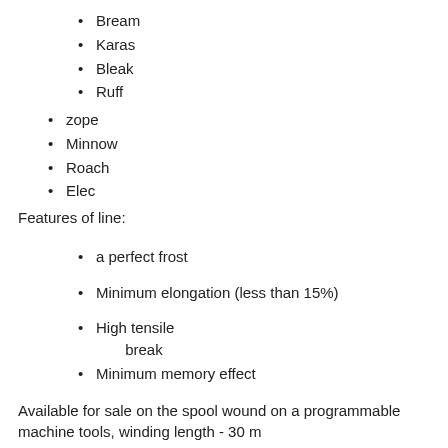Bream
Karas
Bleak
Ruff
zope
Minnow
Roach
Elec
Features of line:
a perfect frost
Minimum elongation (less than 15%)
High tensile break
Minimum memory effect
Available for sale on the spool wound on a programmable machine tools, winding length - 30 m
. Product category: "lower_case_first (Pro-Max Winter 30 m)"